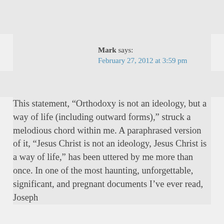Mark says:
February 27, 2012 at 3:59 pm
This statement, “Orthodoxy is not an ideology, but a way of life (including outward forms),” struck a melodious chord within me. A paraphrased version of it, “Jesus Christ is not an ideology, Jesus Christ is a way of life,” has been uttered by me more than once. In one of the most haunting, unforgettable, significant, and pregnant documents I’ve ever read, Joseph